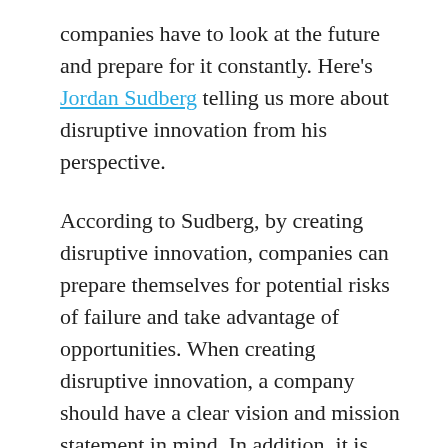companies have to look at the future and prepare for it constantly. Here's Jordan Sudberg telling us more about disruptive innovation from his perspective.
According to Sudberg, by creating disruptive innovation, companies can prepare themselves for potential risks of failure and take advantage of opportunities. When creating disruptive innovation, a company should have a clear vision and mission statement in mind. In addition, it is important to identify the customer base and make sure that they are your products' target. Doing this will increase your chance of success in the long run.
Further, Sudberg also states that disruptive innovation requires a lot of research and development. This ensures that the product is developed on par with the customer's needs. This is because if you do not have a clear vision of